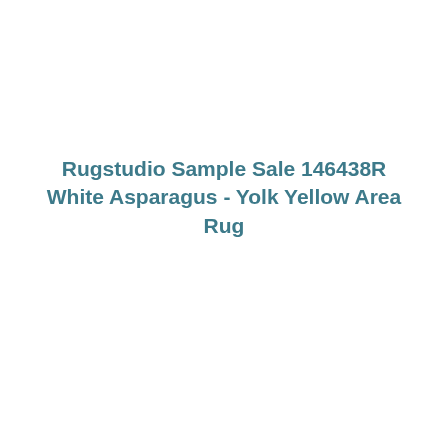Rugstudio Sample Sale 146438R White Asparagus - Yolk Yellow Area Rug